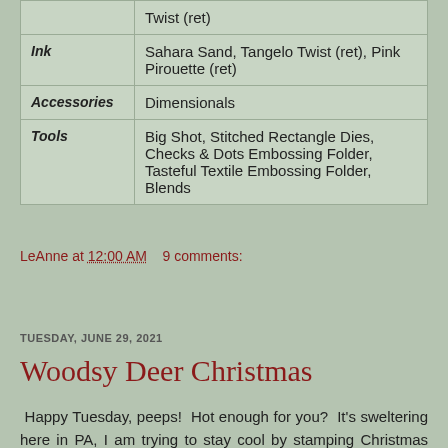|  |  |
| --- | --- |
| Ink | Sahara Sand, Tangelo Twist (ret), Pink Pirouette (ret) |
| Accessories | Dimensionals |
| Tools | Big Shot, Stitched Rectangle Dies, Checks & Dots Embossing Folder, Tasteful Textile Embossing Folder, Blends |
LeAnne at 12:00 AM   9 comments:
Share
TUESDAY, JUNE 29, 2021
Woodsy Deer Christmas
Happy Tuesday, peeps!  Hot enough for you?  It's sweltering here in PA, I am trying to stay cool by stamping Christmas cards and hitting my brother's pool!  Here's my card; it